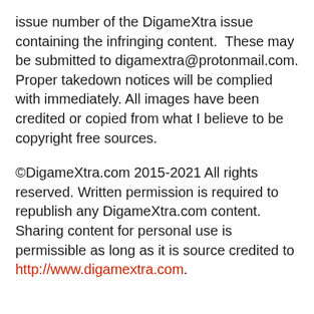issue number of the DigameXtra issue containing the infringing content.  These may be submitted to digamextra@protonmail.com. Proper takedown notices will be complied with immediately. All images have been credited or copied from what I believe to be copyright free sources.
©DigameXtra.com 2015-2021 All rights reserved. Written permission is required to republish any DigameXtra.com content. Sharing content for personal use is permissible as long as it is source credited to http://www.digamextra.com.